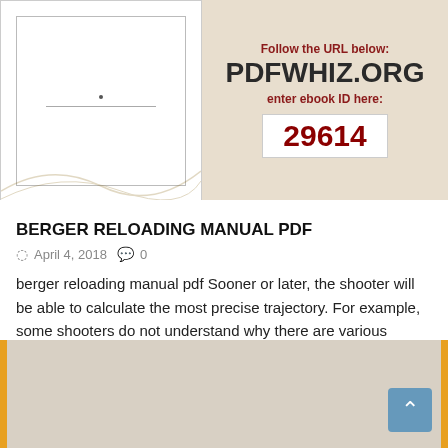[Figure (screenshot): Book cover thumbnail with watermark decorative background]
[Figure (infographic): PDFWHIZ.ORG panel with ebook ID 29614, instructions to follow URL and enter ebook ID]
BERGER RELOADING MANUAL PDF
April 4, 2018   0
berger reloading manual pdf Sooner or later, the shooter will be able to calculate the most precise trajectory. For example, some shooters do not understand why there are various jackets and choose the wrong one. …
Read More
[Figure (photo): Bottom partial image strip with orange border and scroll-to-top button]